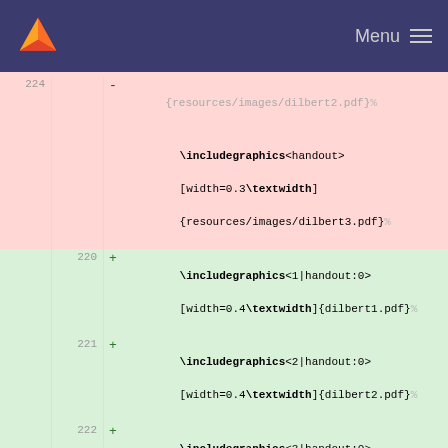GitLab Menu
224  -  \includegraphics<handout>[width=0.3\textwidth]{resources/images/dilbert3.pdf}%
220  +  \includegraphics<1|handout:0>[width=0.4\textwidth]{dilbert1.pdf}%
221  +  \includegraphics<2|handout:0>[width=0.4\textwidth]{dilbert2.pdf}%
222  +  \includegraphics<3|handout:0>[width=0.4\textwidth]{dilbert3.pdf}%
223  +  \includegraphics<handout>[width=0.3\textwidth]{dilbert1.pdf}%
224  +  \includegraphics<handout>[width=0.3\textwidth]{dilbert2.pdf}%